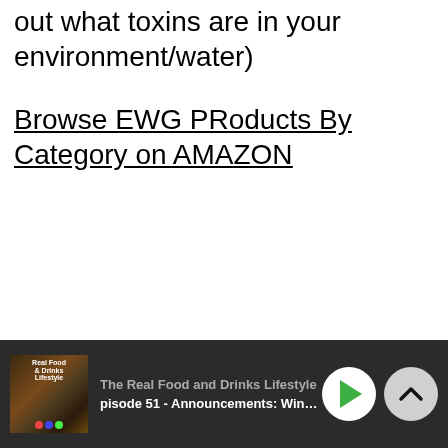out what toxins are in your environment/water)
Browse EWG PRoducts By Category on AMAZON
The Real Food and Drinks Lifestyle | Episode 51 - Announcements: Winner